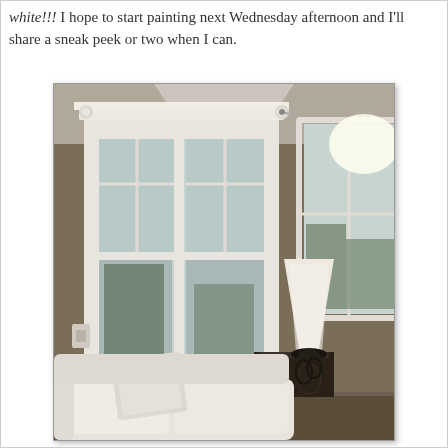white!!!  I hope to start painting next Wednesday afternoon and I'll share a sneak peek or two when I can.
[Figure (photo): Interior room photo showing taupe/olive colored walls with white-painted window trim and casement windows. A white sofa and white lamp with dark base are visible, along with views of greenery outside through the windows.]